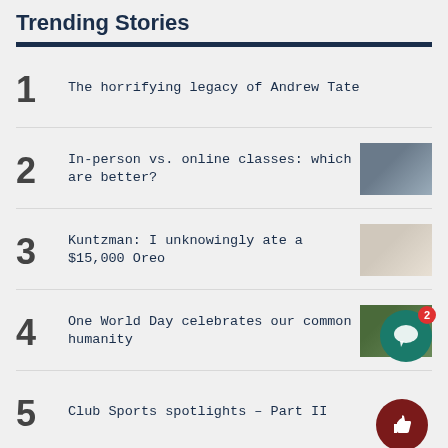Trending Stories
1 The horrifying legacy of Andrew Tate
2 In-person vs. online classes: which are better?
3 Kuntzman: I unknowingly ate a $15,000 Oreo
4 One World Day celebrates our common humanity
5 Club Sports spotlights – Part II